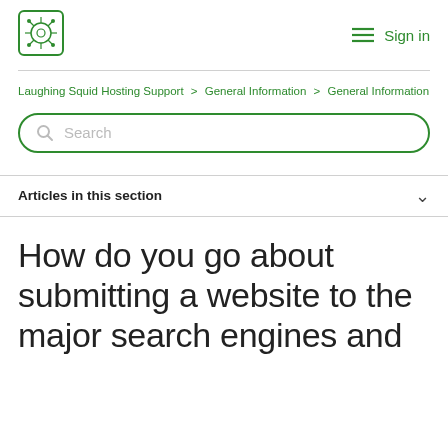Laughing Squid Hosting Support — Sign in
Laughing Squid Hosting Support > General Information > General Information
Search
Articles in this section
How do you go about submitting a website to the major search engines and